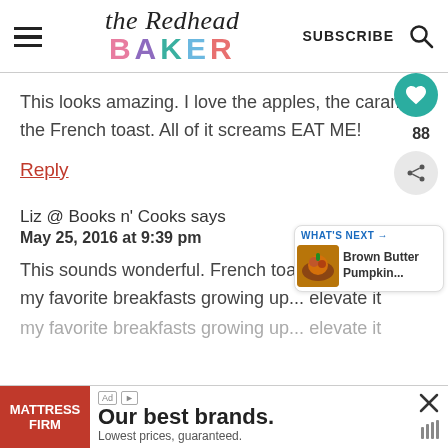the Redhead BAKER | SUBSCRIBE
This looks amazing. I love the apples, the caramel, the French toast. All of it screams EAT ME!
Reply
Liz @ Books n' Cooks says
May 25, 2016 at 9:39 pm
This sounds wonderful. French toast was one of my favorite breakfasts growing up... elevate it w
[Figure (other): What's Next recommendation widget showing Brown Butter Pumpkin...]
[Figure (other): Mattress Firm advertisement banner: Our best brands. Lowest prices, guaranteed.]